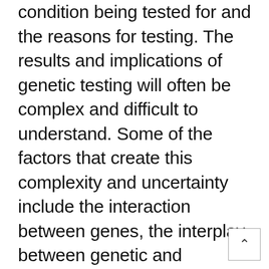condition being tested for and the reasons for testing. The results and implications of genetic testing will often be complex and difficult to understand. Some of the factors that create this complexity and uncertainty include the interaction between genes, the interplay between genetic and environmental causes of disease, different patterns of inheritance of genes, the degree of penetrance associated with particular genetic mutations, and the varying accuracy of genetic test results.[2]